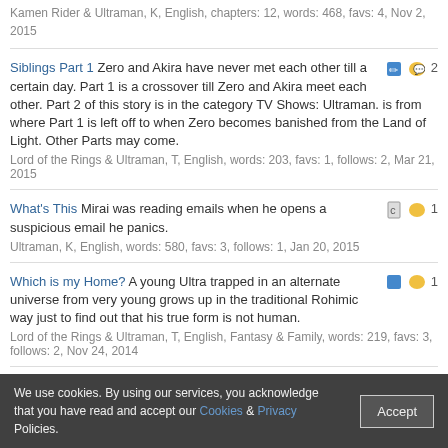Siblings Part 1 Zero and Akira have never met each other till a certain day. Part 1 is a crossover till Zero and Akira meet each other. Part 2 of this story is in the category TV Shows: Ultraman. is from where Part 1 is left off to when Zero becomes banished from the Land of Light. Other Parts may come. Lord of the Rings & Ultraman, T, English, words: 203, favs: 1, follows: 2, Mar 21, 2015
What's This Mirai was reading emails when he opens a suspicious email he panics. Ultraman, K, English, words: 580, favs: 3, follows: 1, Jan 20, 2015
Which is my Home? A young Ultra trapped in an alternate universe from very young grows up in the traditional Rohimic way just to find out that his true form is not human. Lord of the Rings & Ultraman, T, English, Fantasy & Family, words: 219, favs: 3, follows: 2, Nov 24, 2014
Ultrawoman Ruby A young Ultra that doesn't know what she is getting in to after her parents become missing. Ultraman, T, English, Adventure, words: 213, favs: 2, follows: 2, Sep 29, 2014
Author: Follow Favorite Go
We use cookies. By using our services, you acknowledge that you have read and accept our Cookies & Privacy Policies.